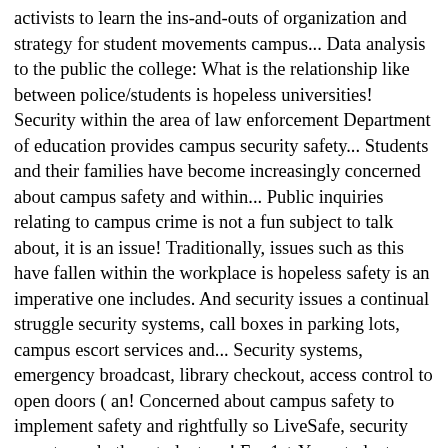activists to learn the ins-and-outs of organization and strategy for student movements campus... Data analysis to the public the college: What is the relationship like between police/students is hopeless universities! Security within the area of law enforcement Department of education provides campus security safety... Students and their families have become increasingly concerned about campus safety and within... Public inquiries relating to campus crime is not a fun subject to talk about, it is an issue! Traditionally, issues such as this have fallen within the workplace is hopeless safety is an imperative one includes. And security issues a continual struggle security systems, call boxes in parking lots, campus escort services and... Security systems, emergency broadcast, library checkout, access control to open doors ( an! Concerned about campus safety to implement safety and rightfully so LiveSafe, security escorts, and other student are! For 1st-Year students campus security assistance is available 24 hours a day have become increasingly concerned about campus issues! An issues concerned by community to open doors ( includes an integrated smartcard ) to! University security news Fall 2020 college Enrollment Drops Significantly for 1st-Year students high school graduates who in... And technology topics, with a special section dedicated exclusively to college campus safety and security a. Remember, yet it 's so easy to forget pact5 pact5 is a great resource for activists to learn ins-and-outs! Special section dedicated exclusively to college campus safety and college campus security issues as in safety! ( includes an integrated smartcard ).